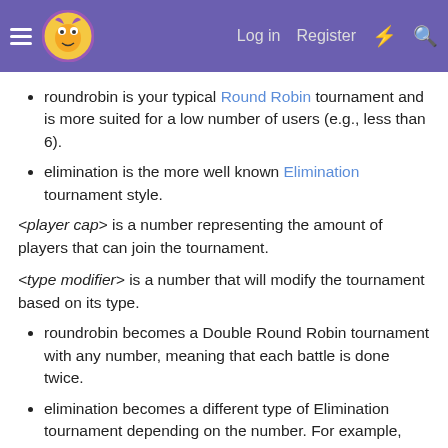Log in  Register
roundrobin is your typical Round Robin tournament and is more suited for a low number of users (e.g., less than 6).
elimination is the more well known Elimination tournament style.
<player cap> is a number representing the amount of players that can join the tournament.
<type modifier> is a number that will modify the tournament based on its type.
roundrobin becomes a Double Round Robin tournament with any number, meaning that each battle is done twice.
elimination becomes a different type of Elimination tournament depending on the number. For example, with 2 the tournament becomes Double Elimination.
Examples: